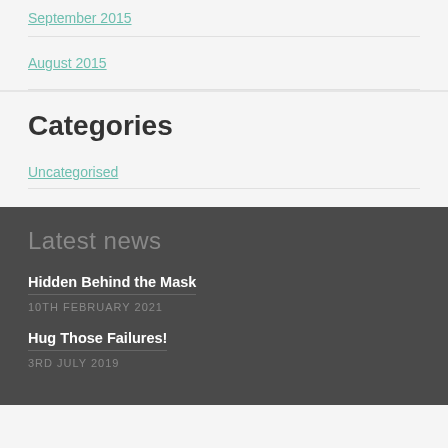September 2015
August 2015
Categories
Uncategorised
Latest news
Hidden Behind the Mask
10TH FEBRUARY 2021
Hug Those Failures!
3RD JULY 2019